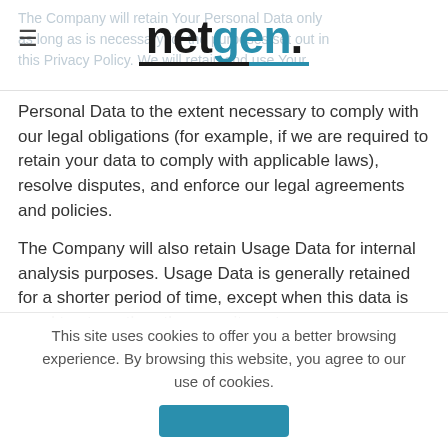[Figure (logo): netgen. logo with hamburger menu icon. 'netgen' in bold black sans-serif with a period in teal/blue. Two underlines below: black on left, teal on right.]
Personal Data to the extent necessary to comply with our legal obligations (for example, if we are required to retain your data to comply with applicable laws), resolve disputes, and enforce our legal agreements and policies.
The Company will also retain Usage Data for internal analysis purposes. Usage Data is generally retained for a shorter period of time, except when this data is used to strengthen the security or to
This site uses cookies to offer you a better browsing experience. By browsing this website, you agree to our use of cookies.